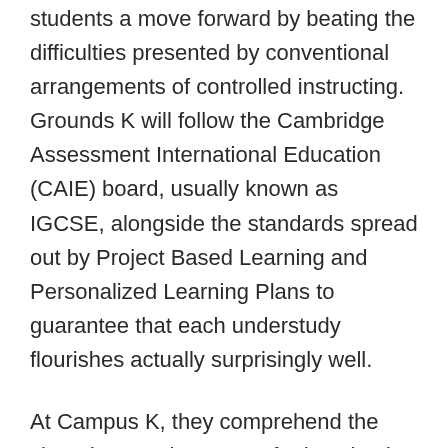students a move forward by beating the difficulties presented by conventional arrangements of controlled instructing. Grounds K will follow the Cambridge Assessment International Education (CAIE) board, usually known as IGCSE, alongside the standards spread out by Project Based Learning and Personalized Learning Plans to guarantee that each understudy flourishes actually surprisingly well.
At Campus K, they comprehend the changing requirements of education in the 21st century and assume the test of recognizing every student's special